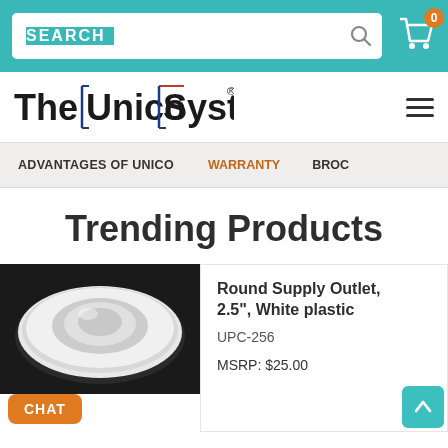[Figure (screenshot): Teal search bar with SEARCH label and shopping cart icon with badge showing 0]
[Figure (logo): The Unico System logo with blue and red accent lines]
ADVANTAGES OF UNICO   WARRANTY   BROC
Trending Products
[Figure (photo): White round supply outlet, 2.5 inch white plastic, on dark background]
Round Supply Outlet, 2.5", White plastic
UPC-256
MSRP: $25.00